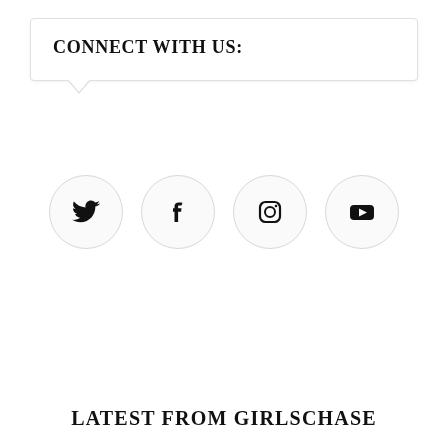CONNECT WITH US:
[Figure (infographic): Four social media icon circles in a row: Twitter (bird), Facebook (f), Instagram (camera), YouTube (play button)]
LATEST FROM GIRLSCHASE